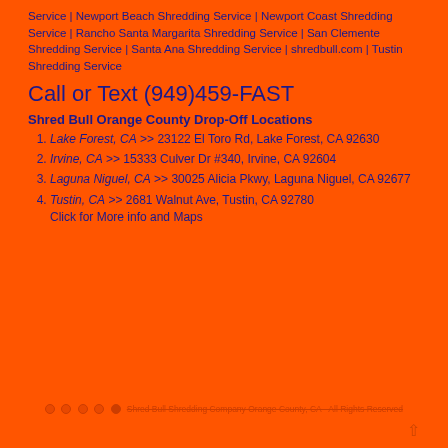Service | Newport Beach Shredding Service | Newport Coast Shredding Service | Rancho Santa Margarita Shredding Service | San Clemente Shredding Service | Santa Ana Shredding Service | shredbull.com | Tustin Shredding Service
Call or Text (949)459-FAST
Shred Bull Orange County Drop-Off Locations
Lake Forest, CA >> 23122 El Toro Rd, Lake Forest, CA 92630
Irvine, CA >> 15333 Culver Dr #340, Irvine, CA 92604
Laguna Niguel, CA >> 30025 Alicia Pkwy, Laguna Niguel, CA 92677
Tustin, CA >> 2681 Walnut Ave, Tustin, CA 92780 Click for More info and Maps
Shred Bull Shredding Company Orange County, CA - All Rights Reserved